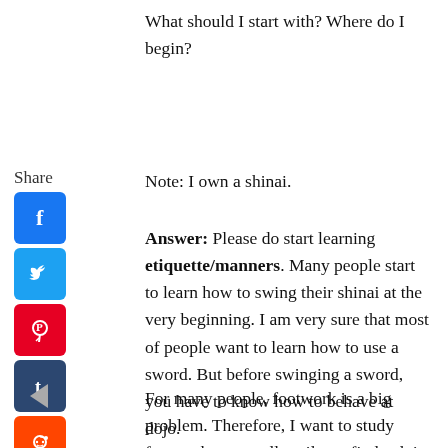What should I start with? Where do I begin?
Note: I own a shinai.
Answer: Please do start learning etiquette/manners. Many people start to learn how to swing their shinai at the very beginning. I am very sure that most of people want to learn how to use a sword. But before swinging a sword, you have to know how to behave at dojo.
For many people, footwork is a big problem. Therefore, I want to study footwork very well until you find a dojo